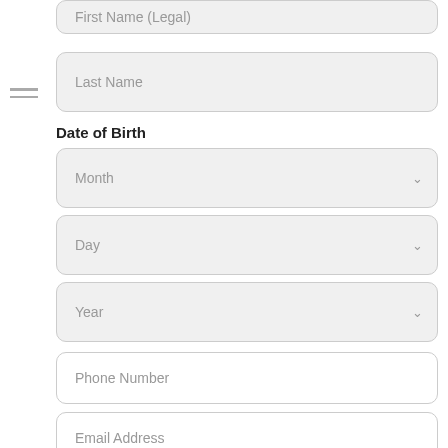First Name (Legal)
Last Name
Date of Birth
Month
Day
Year
Phone Number
Email Address
Procedure of Interest*